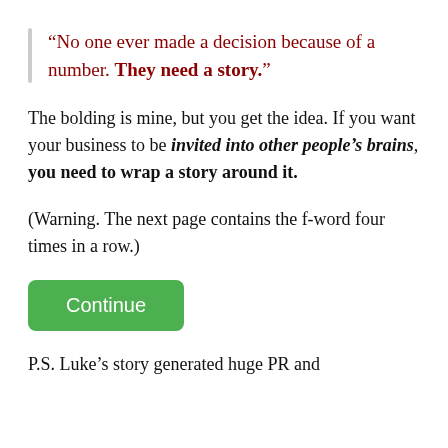“No one ever made a decision because of a number. They need a story.”
The bolding is mine, but you get the idea. If you want your business to be invited into other people’s brains, you need to wrap a story around it.
(Warning. The next page contains the f-word four times in a row.)
Continue
P.S. Luke’s story generated huge PR and